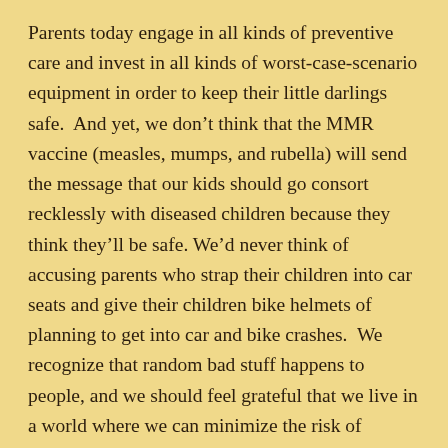Parents today engage in all kinds of preventive care and invest in all kinds of worst-case-scenario equipment in order to keep their little darlings safe.  And yet, we don't think that the MMR vaccine (measles, mumps, and rubella) will send the message that our kids should go consort recklessly with diseased children because they think they'll be safe.  We'd never think of accusing parents who strap their children into car seats and give their children bike helmets of planning to get into car and bike crashes.  We recognize that random bad stuff happens to people, and we should feel grateful that we live in a world where we can minimize the risk of disease and trauma.